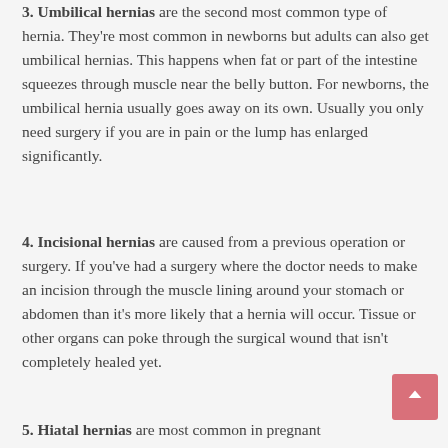3. Umbilical hernias are the second most common type of hernia. They're most common in newborns but adults can also get umbilical hernias. This happens when fat or part of the intestine squeezes through muscle near the belly button. For newborns, the umbilical hernia usually goes away on its own. Usually you only need surgery if you are in pain or the lump has enlarged significantly.
4. Incisional hernias are caused from a previous operation or surgery. If you've had a surgery where the doctor needs to make an incision through the muscle lining around your stomach or abdomen than it's more likely that a hernia will occur. Tissue or other organs can poke through the surgical wound that isn't completely healed yet.
5. Hiatal hernias are most common in pregnant